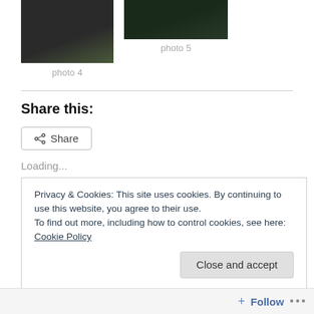[Figure (photo): Photo of blossoming tree branches, dark background, left photo]
photo 4
[Figure (photo): Photo of blossoming tree branches, dark background, right photo]
photo 5
Share this:
Share
Loading...
Privacy & Cookies: This site uses cookies. By continuing to use this website, you agree to their use.
To find out more, including how to control cookies, see here: Cookie Policy
Close and accept
Follow